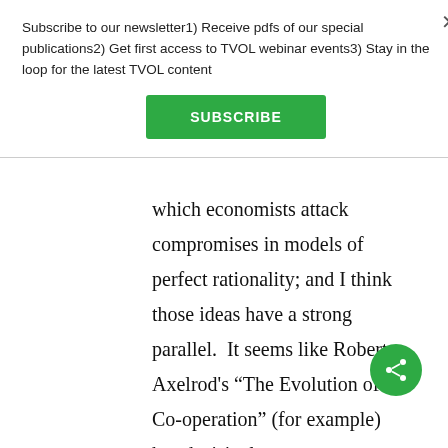Subscribe to our newsletter1) Receive pdfs of our special publications2) Get first access to TVOL webinar events3) Stay in the loop for the latest TVOL content
SUBSCRIBE
which economists attack compromises in models of perfect rationality; and I think those ideas have a strong parallel.  It seems like Robert Axelrod's “The Evolution of Co-operation” (for example) has decisively